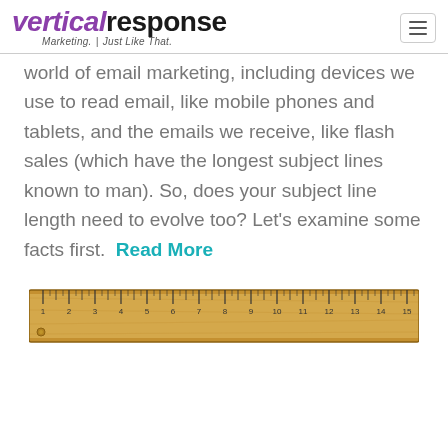VerticalResponse Marketing. Just Like That.
world of email marketing, including devices we use to read email, like mobile phones and tablets, and the emails we receive, like flash sales (which have the longest subject lines known to man). So, does your subject line length need to evolve too? Let's examine some facts first. Read More
[Figure (photo): A wooden ruler showing measurements from 1 to 15]